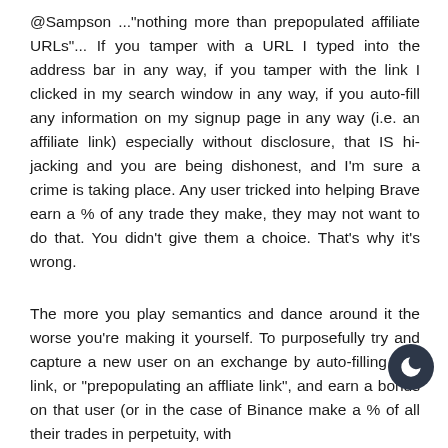@Sampson ..."nothing more than prepopulated affiliate URLs"... If you tamper with a URL I typed into the address bar in any way, if you tamper with the link I clicked in my search window in any way, if you auto-fill any information on my signup page in any way (i.e. an affiliate link) especially without disclosure, that IS hi-jacking and you are being dishonest, and I'm sure a crime is taking place. Any user tricked into helping Brave earn a % of any trade they make, they may not want to do that. You didn't give them a choice. That's why it's wrong.
The more you play semantics and dance around it the worse you're making it yourself. To purposefully try and capture a new user on an exchange by auto-filling in a link, or "prepopulating an affliate link", and earn a bonus on that user (or in the case of Binance make a % of all their trades in perpetuity, with